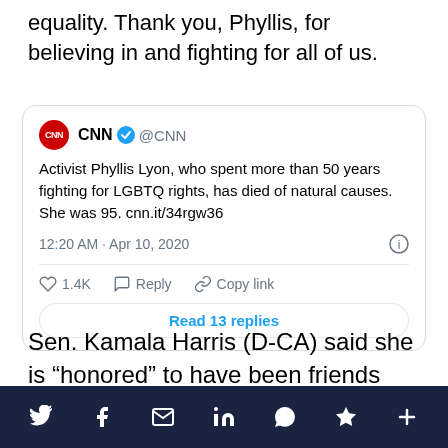equality. Thank you, Phyllis, for believing in and fighting for all of us.
[Figure (screenshot): Embedded tweet from CNN @CNN: Activist Phyllis Lyon, who spent more than 50 years fighting for LGBTQ rights, has died of natural causes. She was 95. cnn.it/34rgw36. Posted 12:20 AM · Apr 10, 2020. 1.4K likes, Reply, Copy link. Read 13 replies button.]
Sen. Kamala Harris (D-CA) said she is “honored” to have been friends with Lyon and Martin.
Twitter share, Facebook share, Email, LinkedIn, WhatsApp, Flipboard, More